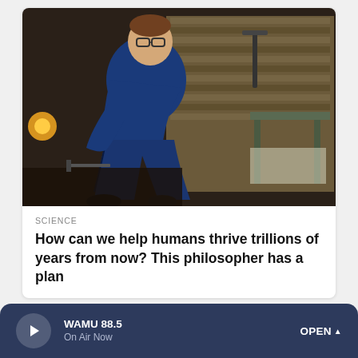[Figure (photo): Young man with glasses in blue t-shirt and jeans sitting in an industrial/workshop setting with wooden structures and metal equipment in the background]
SCIENCE
How can we help humans thrive trillions of years from now? This philosopher has a plan
[Figure (photo): Split image: left half shows a blonde woman, right half shows a grey-haired man]
WAMU 88.5
On Air Now
OPEN ^